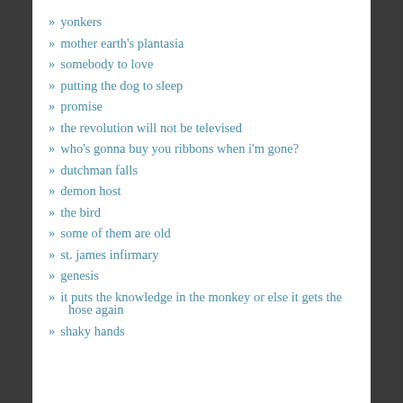» yonkers
» mother earth's plantasia
» somebody to love
» putting the dog to sleep
» promise
» the revolution will not be televised
» who's gonna buy you ribbons when i'm gone?
» dutchman falls
» demon host
» the bird
» some of them are old
» st. james infirmary
» genesis
» it puts the knowledge in the monkey or else it gets the hose again
» shaky hands